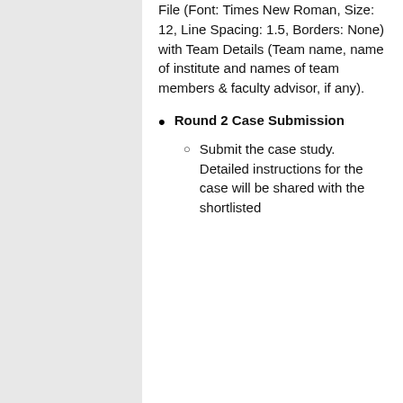File (Font: Times New Roman, Size: 12, Line Spacing: 1.5, Borders: None) with Team Details (Team name, name of institute and names of team members & faculty advisor, if any).
Round 2 Case Submission
Submit the case study. Detailed instructions for the case will be shared with the shortlisted